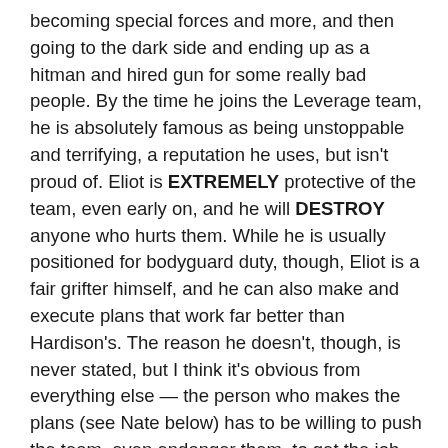becoming special forces and more, and then going to the dark side and ending up as a hitman and hired gun for some really bad people. By the time he joins the Leverage team, he is absolutely famous as being unstoppable and terrifying, a reputation he uses, but isn't proud of. Eliot is EXTREMELY protective of the team, even early on, and he will DESTROY anyone who hurts them. While he is usually positioned for bodyguard duty, though, Eliot is a fair grifter himself, and he can also make and execute plans that work far better than Hardison's. The reason he doesn't, though, is never stated, but I think it's obvious from everything else — the person who makes the plans (see Nate below) has to be willing to push the team, even endanger them, to get the job done. And that is something Eliot will not willingly do. Eliot loves this team even when he wants to strangle them all. Eliot is played by Christian Kane, which means they could do other things with the character, since he's a frighteningly skilled human being; Eliot, therefore, can sing and